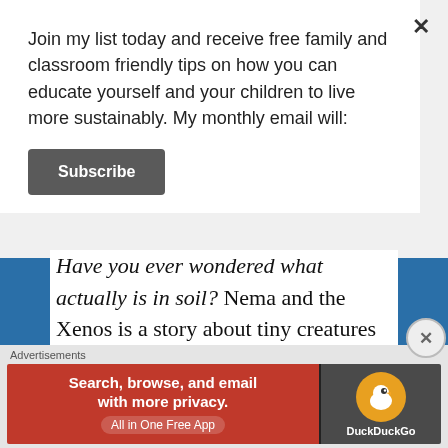Join my list today and receive free family and classroom friendly tips on how you can educate yourself and your children to live more sustainably. My monthly email will:
Subscribe
Have you ever wondered what actually is in soil? Nema and the Xenos is a story about tiny creatures that live in the darkness of the soil. Creatures small enough that we need a magnifying glass
Advertisements
[Figure (infographic): DuckDuckGo advertisement banner: orange-red left panel with text 'Search, browse, and email with more privacy. All in One Free App' and dark right panel with DuckDuckGo logo]